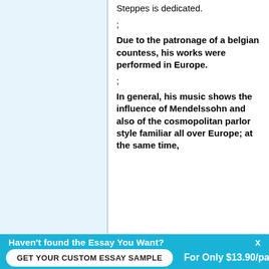Steppes is dedicated.
;
Due to the patronage of a belgian countess, his works were performed in Europe.
;
In general, his music shows the influence of Mendelssohn and also of the cosmopolitan parlor style familiar all over Europe; at the same time,
Haven't found the Essay You Want?
x
GET YOUR CUSTOM ESSAY SAMPLE
For Only $13.90/page